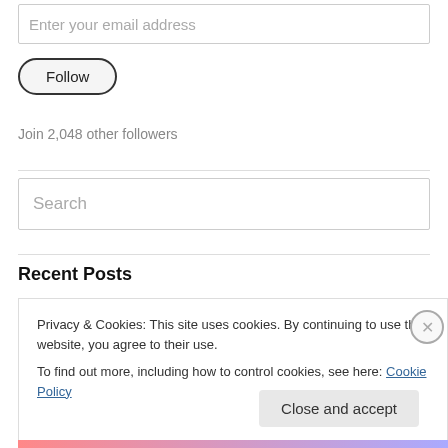Enter your email address
Follow
Join 2,048 other followers
Search
Recent Posts
Privacy & Cookies: This site uses cookies. By continuing to use this website, you agree to their use.
To find out more, including how to control cookies, see here: Cookie Policy
Close and accept